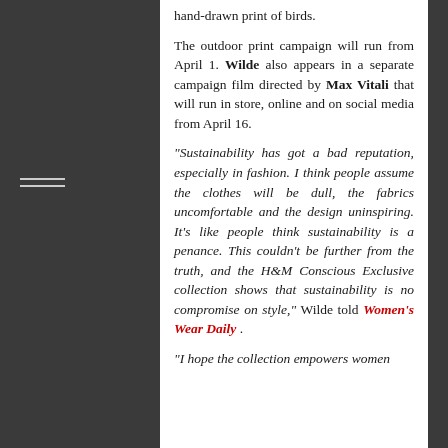hand-drawn print of birds.
The outdoor print campaign will run from April 1. Wilde also appears in a separate campaign film directed by Max Vitali that will run in store, online and on social media from April 16.
“Sustainability has got a bad reputation, especially in fashion. I think people assume the clothes will be dull, the fabrics uncomfortable and the design uninspiring. It’s like people think sustainability is a penance. This couldn’t be further from the truth, and the H&M Conscious Exclusive collection shows that sustainability is no compromise on style,” Wilde told Women’s Wear Daily .
“I hope the collection empowers women